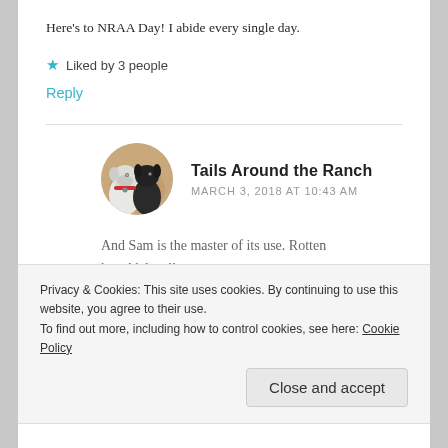Here's to NRAA Day! I abide every single day.
★ Liked by 3 people
Reply
Tails Around the Ranch
MARCH 3, 2018 AT 10:43 AM
And Sam is the master of its use. Rotten knucklehead!
Privacy & Cookies: This site uses cookies. By continuing to use this website, you agree to their use.
To find out more, including how to control cookies, see here: Cookie Policy
Close and accept